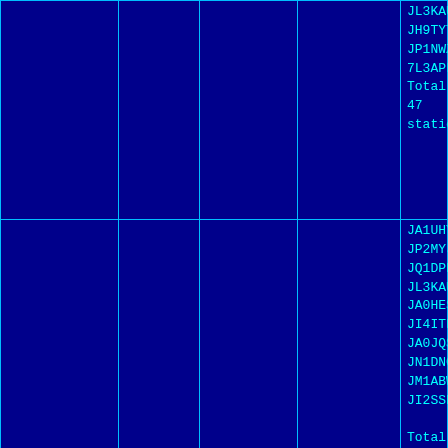| Date | Freq | Time | Net Control | Stations |
| --- | --- | --- | --- | --- |
|  |  |  |  | JL3KAU/M,JK...
JH9TYT,JA7F...
JP1NWZ/M,JG...
7L3APL/M,JA1...
Total 47 station... |
| 00/07/29 | 7096.0 | 7:00-7:15 | JO1DZA | JA1UHY,JG1X...
JP2MYJ,JA7Z...
JQ1DPP,JA1X...
JL3KAU,JA1S...
JA0HES,JM2V...
JI4ITP/M,JE1S...
JA0JQS,JA3B...
JN1DNG,JA1H...
JM1ABW,JG3H...
JI2SSP,JA1PY...

Total 48 station... |
| 00/07/22 | 7096.0 | 7:00-7:15 | JA1XBY | JA1HUR,,JR1H...
JN1DNG,JP2M...
JA3CZY,JH1L...
JA1NOJ,JA3B...
7K1WLE/M,JR...
JA0JQS/M,JHC...
JA7FTC,JF2S...
JA3PPP,JP... |